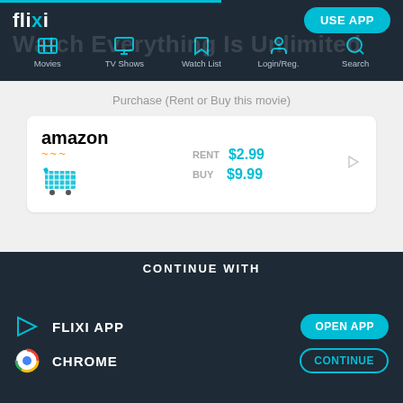flixi — USE APP — Movies, TV Shows, Watch List, Login/Reg., Search
Watch Everything Is Unlimited
Purchase (Rent or Buy this movie)
amazon RENT $2.99 BUY $9.99
Google Play HD $2.99
Apple RENT $2.99
CONTINUE WITH
FLIXI APP — OPEN APP
CHROME — CONTINUE